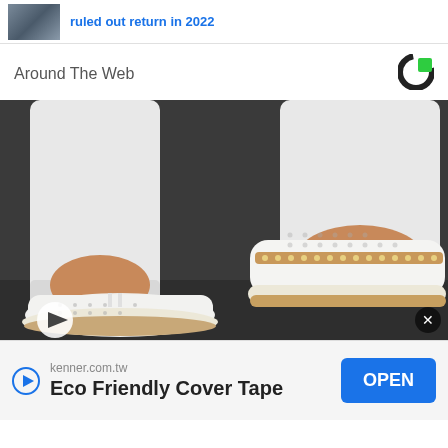[Figure (screenshot): Partial thumbnail image of two people with blue link text 'ruled out return in 2022' partially visible at top]
Around The Web
[Figure (logo): Taboola logo — black C shape with green square accent]
[Figure (photo): Close-up photo of a person wearing white jeans and white slip-on shoes with tan/gold studded trim and perforated details, standing on dark pavement]
kenner.com.tw
Eco Friendly Cover Tape
OPEN